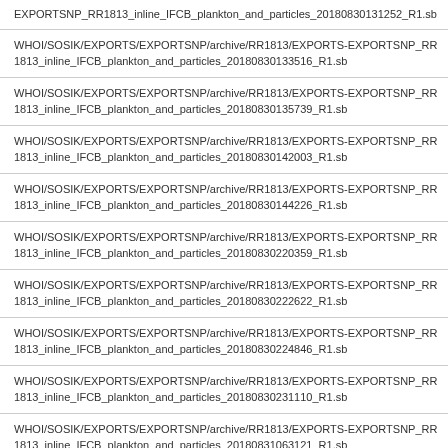| EXPORTSNP_RR1813_inline_IFCB_plankton_and_particles_20180830131252_R1.sb |
| WHOI/SOSIK/EXPORTS/EXPORTSNP/archive/RR1813/EXPORTS-EXPORTSNP_RR1813_inline_IFCB_plankton_and_particles_20180830133516_R1.sb |
| WHOI/SOSIK/EXPORTS/EXPORTSNP/archive/RR1813/EXPORTS-EXPORTSNP_RR1813_inline_IFCB_plankton_and_particles_20180830135739_R1.sb |
| WHOI/SOSIK/EXPORTS/EXPORTSNP/archive/RR1813/EXPORTS-EXPORTSNP_RR1813_inline_IFCB_plankton_and_particles_20180830142003_R1.sb |
| WHOI/SOSIK/EXPORTS/EXPORTSNP/archive/RR1813/EXPORTS-EXPORTSNP_RR1813_inline_IFCB_plankton_and_particles_20180830144226_R1.sb |
| WHOI/SOSIK/EXPORTS/EXPORTSNP/archive/RR1813/EXPORTS-EXPORTSNP_RR1813_inline_IFCB_plankton_and_particles_20180830220359_R1.sb |
| WHOI/SOSIK/EXPORTS/EXPORTSNP/archive/RR1813/EXPORTS-EXPORTSNP_RR1813_inline_IFCB_plankton_and_particles_20180830222622_R1.sb |
| WHOI/SOSIK/EXPORTS/EXPORTSNP/archive/RR1813/EXPORTS-EXPORTSNP_RR1813_inline_IFCB_plankton_and_particles_20180830224846_R1.sb |
| WHOI/SOSIK/EXPORTS/EXPORTSNP/archive/RR1813/EXPORTS-EXPORTSNP_RR1813_inline_IFCB_plankton_and_particles_20180830231110_R1.sb |
| WHOI/SOSIK/EXPORTS/EXPORTSNP/archive/RR1813/EXPORTS-EXPORTSNP_RR1813_inline_IFCB_plankton_and_particles_20180831063121_R1.sb |
| WHOI/SOSIK/EXPORTS/EXPORTSNP/archive/RR1813/EXPORTS-EXPORTSNP_RR1813_inline_IFCB_plankton_and_particles_20180831065345_R1.sb |